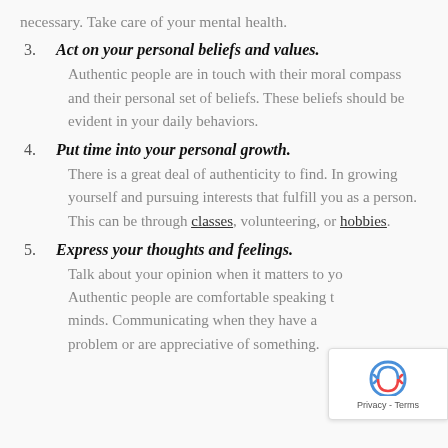necessary. Take care of your mental health.
3. Act on your personal beliefs and values.
Authentic people are in touch with their moral compass and their personal set of beliefs. These beliefs should be evident in your daily behaviors.
4. Put time into your personal growth.
There is a great deal of authenticity to find. In growing yourself and pursuing interests that fulfill you as a person. This can be through classes, volunteering, or hobbies.
5. Express your thoughts and feelings.
Talk about your opinion when it matters to you. Authentic people are comfortable speaking their minds. Communicating when they have a problem or are appreciative of something.